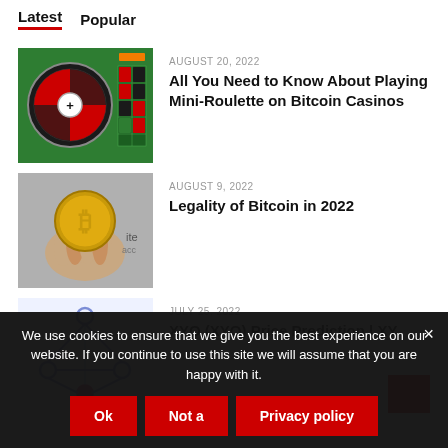Latest | Popular
AUGUST 20, 2022
All You Need to Know About Playing Mini-Roulette on Bitcoin Casinos
[Figure (photo): Roulette wheel and table on green background]
AUGUST 9, 2022
Legality of Bitcoin in 2022
[Figure (photo): Hand holding a Bitcoin coin]
JULY 25, 2022
XYO (XYO) Price Prediction | XY
[Figure (illustration): XYO network logo with blue geometric shapes]
We use cookies to ensure that we give you the best experience on our website. If you continue to use this site we will assume that you are happy with it.
Ok
Not a
Privacy policy